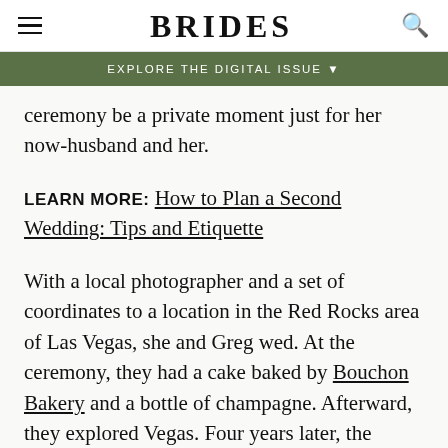BRIDES
EXPLORE THE DIGITAL ISSUE
ceremony be a private moment just for her now-husband and her.
LEARN MORE: How to Plan a Second Wedding: Tips and Etiquette
With a local photographer and a set of coordinates to a location in the Red Rocks area of Las Vegas, she and Greg wed. At the ceremony, they had a cake baked by Bouchon Bakery and a bottle of champagne. Afterward, they explored Vegas. Four years later, the couple has added two